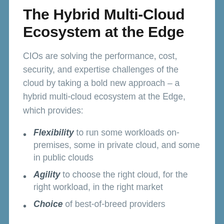The Hybrid Multi-Cloud Ecosystem at the Edge
CIOs are solving the performance, cost, security, and expertise challenges of the cloud by taking a bold new approach – a hybrid multi-cloud ecosystem at the Edge, which provides:
Flexibility to run some workloads on-premises, some in private cloud, and some in public clouds
Agility to choose the right cloud, for the right workload, in the right market
Choice of best-of-breed providers